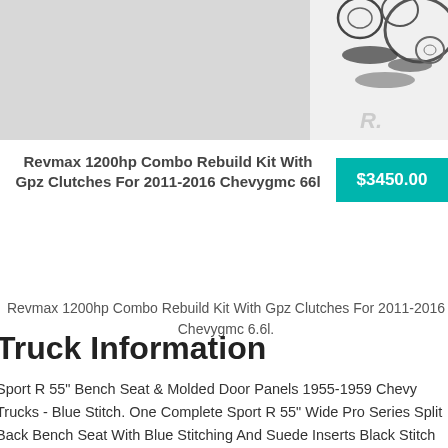[Figure (photo): Product photo of a transmission rebuild kit showing various rings, seals, and clutch components on a white background]
Revmax 1200hp Combo Rebuild Kit With Gpz Clutches For 2011-2016 Chevygmc 66l
$3450.00
Revmax 1200hp Combo Rebuild Kit With Gpz Clutches For 2011-2016 Chevygmc 6.6l.
Truck Information
Sport R 55" Bench Seat & Molded Door Panels 1955-1959 Chevy Trucks - Blue Stitch. One Complete Sport R 55" Wide Pro Series Split Back Bench Seat With Blue Stitching And Suede Inserts Black Stitch Shown In Picture (specs Below). Pro Series Split Back Bench Seat. One Pair Of Tmi Large Molded Charcoal Black Sport R Door Panels.